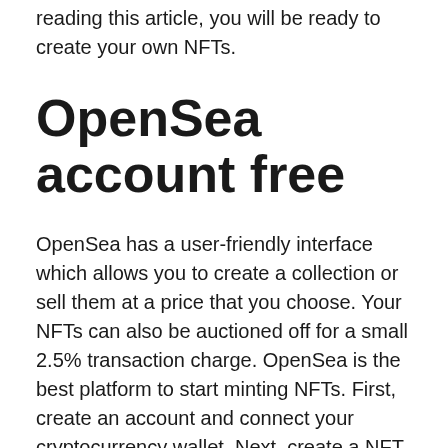reading this article, you will be ready to create your own NFTs.
OpenSea account free
OpenSea has a user-friendly interface which allows you to create a collection or sell them at a price that you choose. Your NFTs can also be auctioned off for a small 2.5% transaction charge. OpenSea is the best platform to start minting NFTs. First, create an account and connect your cryptocurrency wallet. Next, create a NFT storefront and enter your collection details. Once this is done, you can begin selling your NFTs for a set price.